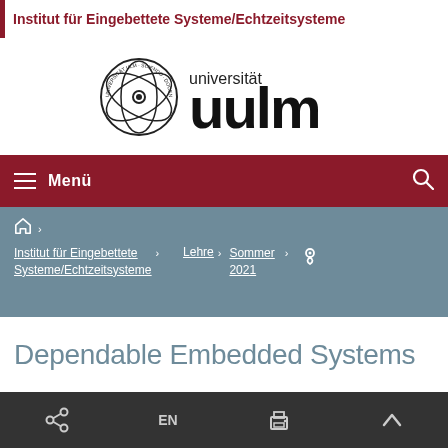Institut für Eingebettete Systeme/Echtzeitsysteme
[Figure (logo): Universität Ulm logo with atom symbol and 'universität uulm' text]
≡ Menü
🏠 › Institut für Eingebettete Systeme/Echtzeitsysteme › Lehre › Sommer 2021 › 📍
Dependable Embedded Systems
General Information
Share | EN | Print | Up